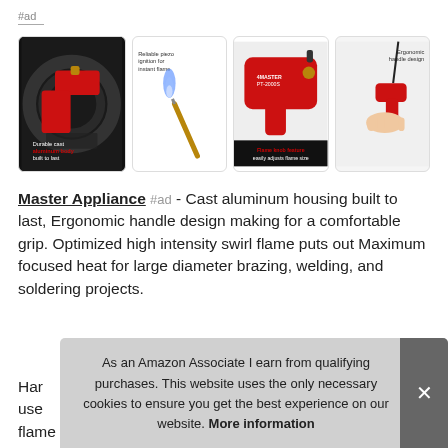#ad
[Figure (photo): Four product images of a red cast aluminum torch/brazing tool (Master Appliance PT-2000S): 1) tool on dark background with text 'Durable cast aluminum body built to last', 2) torch tip with blue flame and text 'Reliable piezo ignition for instant flame', 3) close-up of red tool with label 'Flame knob feature easily adjusts flame size', 4) hand holding tool with text 'Ergonomic handle design']
Master Appliance #ad - Cast aluminum housing built to last, Ergonomic handle design making for a comfortable grip. Optimized high intensity swirl flame puts out Maximum focused heat for large diameter brazing, welding, and soldering projects.
As an Amazon Associate I earn from qualifying purchases. This website uses the only necessary cookies to ensure you get the best experience on our website. More information
flame burns at 3730F. Adjustable flame knob to easily tailor